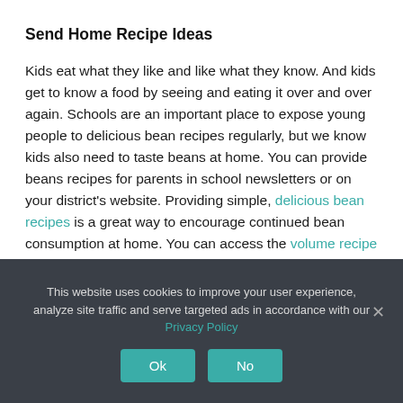Send Home Recipe Ideas
Kids eat what they like and like what they know. And kids get to know a food by seeing and eating it over and over again. Schools are an important place to expose young people to delicious bean recipes regularly, but we know kids also need to taste beans at home. You can provide beans recipes for parents in school newsletters or on your district’s website. Providing simple, delicious bean recipes is a great way to encourage continued bean consumption at home. You can access the volume recipe for White Bean Turkey Chili and the home version at BeanInstitute.com.
This website uses cookies to improve your user experience, analyze site traffic and serve targeted ads in accordance with our Privacy Policy